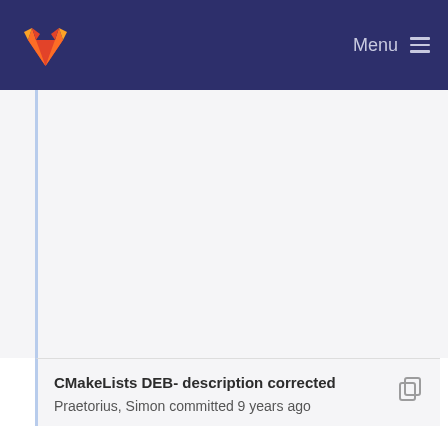GitLab — Menu
CMakeLists DEB- description corrected
Praetorius, Simon committed 9 years ago